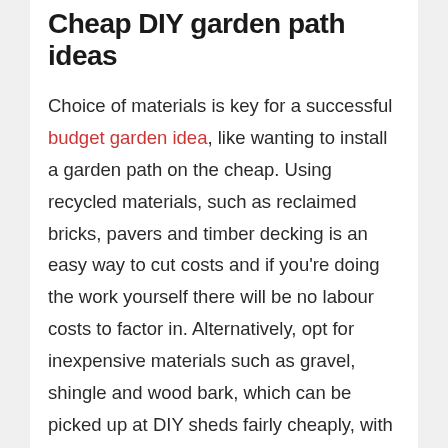Cheap DIY garden path ideas
Choice of materials is key for a successful budget garden idea, like wanting to install a garden path on the cheap. Using recycled materials, such as reclaimed bricks, pavers and timber decking is an easy way to cut costs and if you're doing the work yourself there will be no labour costs to factor in. Alternatively, opt for inexpensive materials such as gravel, shingle and wood bark, which can be picked up at DIY sheds fairly cheaply, with bulk-buy deals available at key times of year.